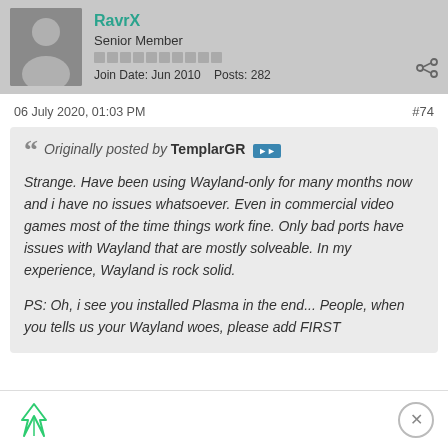RavrX — Senior Member — Join Date: Jun 2010 Posts: 282
06 July 2020, 01:03 PM   #74
Originally posted by TemplarGR

Strange. Have been using Wayland-only for many months now and i have no issues whatsoever. Even in commercial video games most of the time things work fine. Only bad ports have issues with Wayland that are mostly solveable. In my experience, Wayland is rock solid.

PS: Oh, i see you installed Plasma in the end... People, when you tells us your Wayland woes, please add FIRST